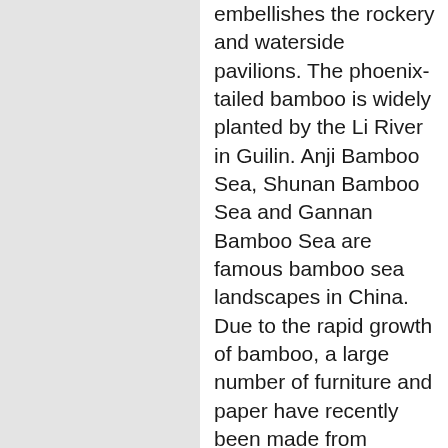embellishes the rockery and waterside pavilions. The phoenix-tailed bamboo is widely planted by the Li River in Guilin. Anji Bamboo Sea, Shunan Bamboo Sea and Gannan Bamboo Sea are famous bamboo sea landscapes in China. Due to the rapid growth of bamboo, a large number of furniture and paper have recently been made from bamboo for environmental protection reasons. Bamboo can also be used to make handicrafts and musical instruments. Bamboo fibers are made by engineering methods, through physical and